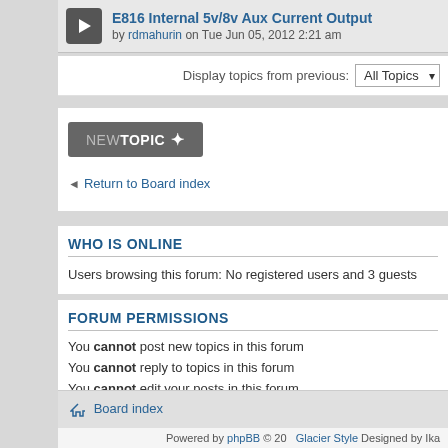E816 Internal 5v/8v Aux Current Output by rdmahurin on Tue Jun 05, 2012 2:21 am
Display topics from previous: All Topics
[Figure (screenshot): NEW TOPIC button with star icon]
Return to Board index
WHO IS ONLINE
Users browsing this forum: No registered users and 3 guests
FORUM PERMISSIONS
You cannot post new topics in this forum
You cannot reply to topics in this forum
You cannot edit your posts in this forum
You cannot delete your posts in this forum
You cannot post attachments in this forum
Board index
Powered by phpBB © 20  Glacier Style Designed by Ika